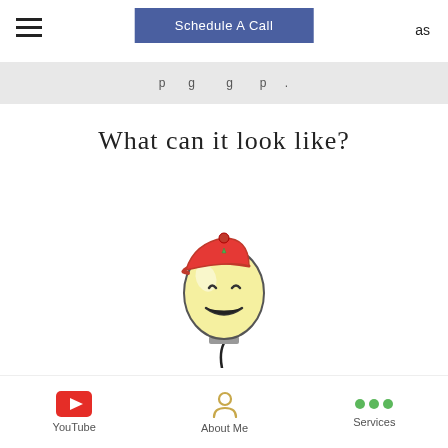Schedule A Call  as
p g g p .
What can it look like?
[Figure (illustration): Cartoon smiling light bulb character wearing a red cap, with a black cord dangling from the base]
When in a customer facing job we
YouTube   About Me   Services